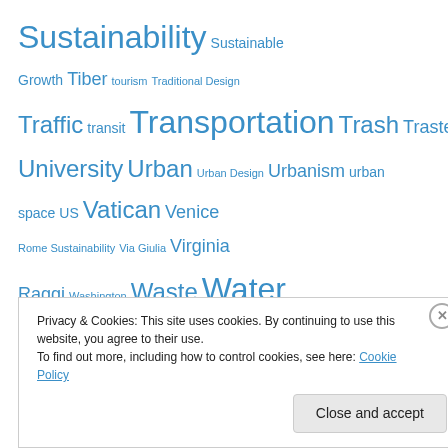Sustainability Sustainable Growth Tiber tourism Traditional Design Traffic transit Transportation Trash Trastevere University Urban Urban Design Urbanism urban space US Vatican Venice Rome Sustainability Via Giulia Virginia Raggi Washington Waste Water Workshop
Archives
Select Month
Privacy & Cookies: This site uses cookies. By continuing to use this website, you agree to their use.
To find out more, including how to control cookies, see here: Cookie Policy
Close and accept